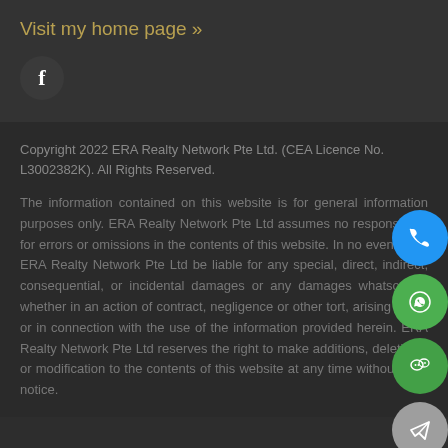Visit my home page »
[Figure (logo): Facebook icon in dark circle]
Copyright 2022 ERA Realty Network Pte Ltd. (CEA Licence No. L3002382K). All Rights Reserved.
The information contained on this website is for general information purposes only. ERA Realty Network Pte Ltd assumes no responsibility for errors or omissions in the contents of this website. In no event shall ERA Realty Network Pte Ltd be liable for any special, direct, indirect, consequential, or incidental damages or any damages whatsoever, whether in an action of contract, negligence or other tort, arising out of or in connection with the use of the information provided herein. ERA Realty Network Pte Ltd reserves the right to make additions, deletions, or modification to the contents of this website at any time without prior notice.
[Figure (infographic): Four floating action buttons on the right side: blue phone button, green WhatsApp button, green WeChat button, gray send/Telegram button]